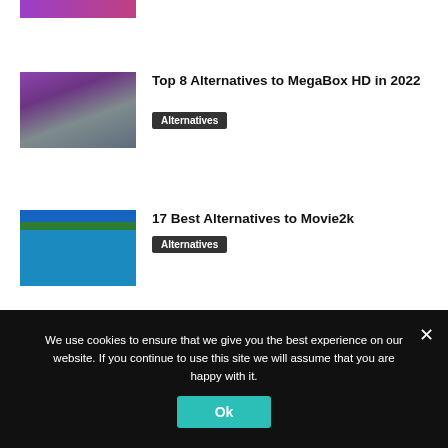[Figure (photo): Partial purple/pink banner image at very top (cropped)]
[Figure (photo): Woman eating popcorn watching movie]
Top 8 Alternatives to MegaBox HD in 2022
Alternatives
[Figure (screenshot): Screenshot of Movie2k website]
17 Best Alternatives to Movie2k
Alternatives
[Figure (screenshot): Screenshot of House Movie website with movie covers]
10 Best Alternatives to House Movie for Watching Free Movies Online
Alternatives
We use cookies to ensure that we give you the best experience on our website. If you continue to use this site we will assume that you are happy with it.